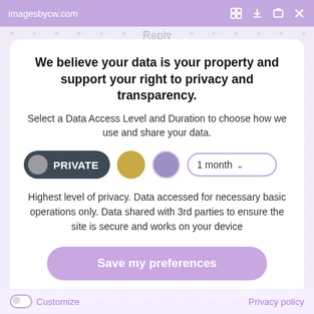imagesbycw.com
We believe your data is your property and support your right to privacy and transparency.
Select a Data Access Level and Duration to choose how we use and share your data.
[Figure (screenshot): Privacy controls row: PRIVATE button (dark), gold circle button, purple circle button, 1 month dropdown]
Highest level of privacy. Data accessed for necessary basic operations only. Data shared with 3rd parties to ensure the site is secure and works on your device
Save my preferences
Customize   Privacy policy